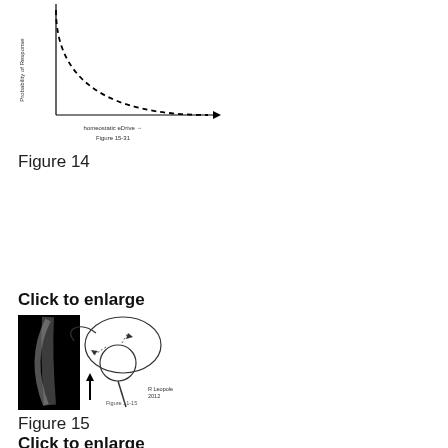[Figure (continuous-plot): A quarter-circle dashed curve graph showing probability or some measure on y-axis vs. homeostatic drive or similar measure on x-axis, labeled Figure 15-31 at bottom. Axes are simple lines with arrow on x-axis.]
Figure 14
Click to enlarge
[Figure (illustration): Medical anatomical illustration of a shoulder joint with a dark/black background on left side. Shows arrows indicating direction of force or movement. A curved structure (possibly rotator cuff or ligament) is depicted. Text at bottom reads 'Figure 11-15' or similar. Black block on left margin.]
Figure 15
Click to enlarge